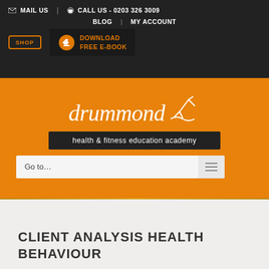✉ MAIL US | ☎ CALL US - 0203 326 3009
BLOG | MY ACCOUNT
SHOP | DOWNLOAD FREE E-BOOK
[Figure (logo): Drummond health & fitness education academy logo with stylized figure on orange background]
Go to...
CLIENT ANALYSIS HEALTH BEHAVIOUR